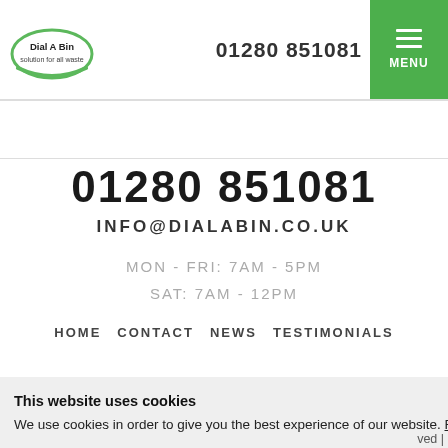[Figure (logo): Dial A Bin - solution for all waste logo with green oval shape]
01280 851081
[Figure (other): Green menu button with three white horizontal bars and MENU text]
01280 851081
INFO@DIALABIN.CO.UK
MON - FRI: 7AM - 5PM
SAT: 7AM - 12PM
HOME   CONTACT   NEWS   TESTIMONIALS
This website uses cookies
We use cookies in order to give you the best experience of our website. Read More.
ved |